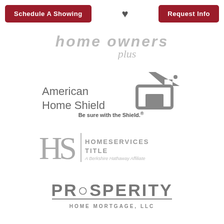Schedule A Showing | [heart] | Request Info
[Figure (logo): Home Owners Plus logo in gray italic text]
[Figure (logo): American Home Shield logo with house-shield icon in gray. Tagline: Be sure with the Shield.]
[Figure (logo): HomeServices Title - A Berkshire Hathaway Affiliate logo in gray]
[Figure (logo): Prosperity Home Mortgage, LLC logo in gray with underline]